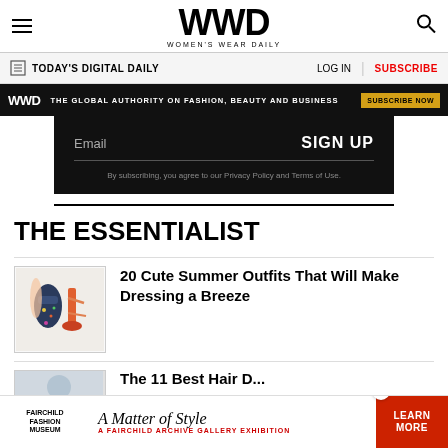WWD — Women's Wear Daily
TODAY'S DIGITAL DAILY | LOG IN | SUBSCRIBE
[Figure (infographic): WWD ad banner: THE GLOBAL AUTHORITY ON FASHION, BEAUTY AND BUSINESS — SUBSCRIBE NOW]
[Figure (infographic): Email signup box with SIGN UP button and privacy policy note]
THE ESSENTIALIST
[Figure (photo): Fashion thumbnail showing summer outfits — a floral dress and orange heeled sandals]
20 Cute Summer Outfits That Will Make Dressing a Breeze
[Figure (photo): Partial thumbnail of second article]
[Figure (infographic): Bottom ad: Fairchild Fashion Museum — A Matter of Style — A Fairchild Archive Gallery Exhibition — LEARN MORE]